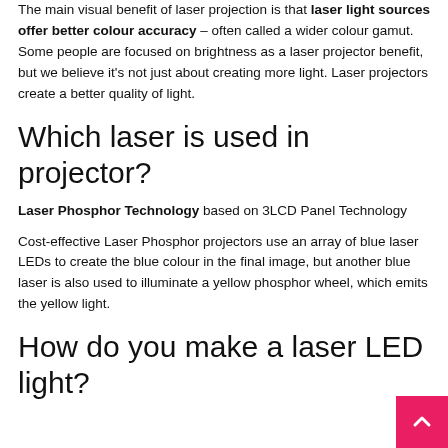The main visual benefit of laser projection is that laser light sources offer better colour accuracy – often called a wider colour gamut. Some people are focused on brightness as a laser projector benefit, but we believe it's not just about creating more light. Laser projectors create a better quality of light.
Which laser is used in projector?
Laser Phosphor Technology based on 3LCD Panel Technology
Cost-effective Laser Phosphor projectors use an array of blue laser LEDs to create the blue colour in the final image, but another blue laser is also used to illuminate a yellow phosphor wheel, which emits the yellow light.
How do you make a laser LED light?